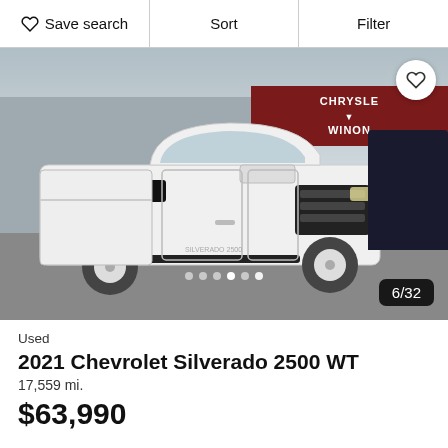Save search   Sort   Filter
[Figure (photo): White 2021 Chevrolet Silverado 2500 WT pickup truck parked at a dealership lot with a Chrysler Winona dealership sign visible in the background. Image counter shows 6/32.]
Used
2021 Chevrolet Silverado 2500 WT
17,559 mi.
$63,990